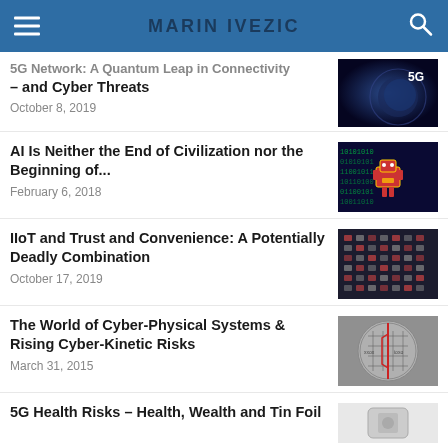MARIN IVEZIC
5G Network: A Quantum Leap in Connectivity – and Cyber Threats
October 8, 2019
AI Is Neither the End of Civilization nor the Beginning of...
February 6, 2018
IIoT and Trust and Convenience: A Potentially Deadly Combination
October 17, 2019
The World of Cyber-Physical Systems & Rising Cyber-Kinetic Risks
March 31, 2015
5G Health Risks – Health, Wealth and Tin Foil